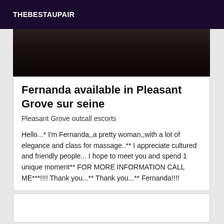THEBESTAUPAIR
[Figure (photo): Dark photo showing partial view of a person, mostly dark/shadowed background]
Fernanda available in Pleasant Grove sur seine
Pleasant Grove outcall escorts
Hello...* I'm Fernanda,,a pretty woman,,with a lot of elegance and class for massage..** I appreciate cultured and friendly people... I hope to meet you and spend 1 unique moment** FOR MORE INFORMATION CALL ME***!!!! Thank you...** Thank you...** Fernanda!!!!